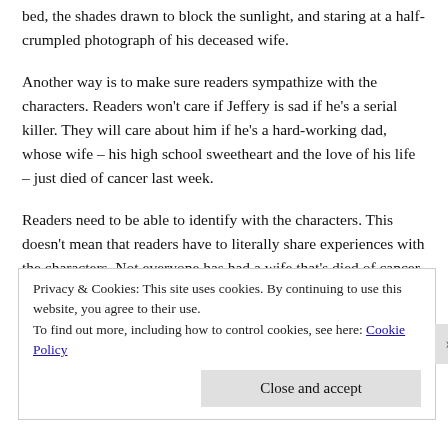bed, the shades drawn to block the sunlight, and staring at a half-crumpled photograph of his deceased wife.
Another way is to make sure readers sympathize with the characters. Readers won't care if Jeffery is sad if he's a serial killer. They will care about him if he's a hard-working dad, whose wife – his high school sweetheart and the love of his life – just died of cancer last week.
Readers need to be able to identify with the characters. This doesn't mean that readers have to literally share experiences with the characters. Not everyone has had a wife that's died of cancer. However, people can relate to a lost love, whether
Privacy & Cookies: This site uses cookies. By continuing to use this website, you agree to their use.
To find out more, including how to control cookies, see here: Cookie Policy
Close and accept